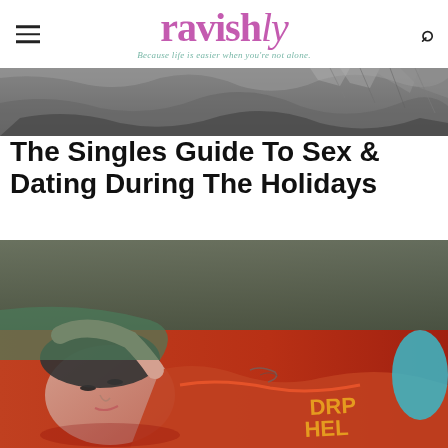ravishly — Because life is easier when you're not alone.
[Figure (photo): Black and white photo of wet/icy surface, hero banner]
The Singles Guide To Sex & Dating During The Holidays
[Figure (photo): Color photo of a person with tattoos lying down wearing an orange top, eyes closed with dramatic makeup]